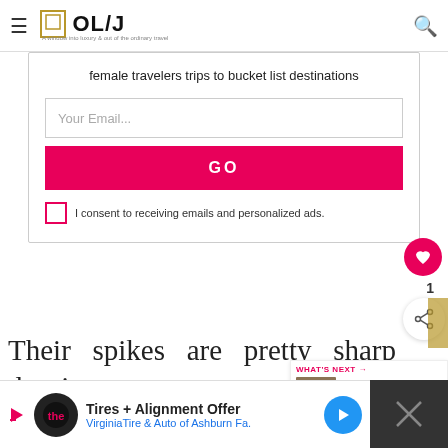OL/J — A window into luxury & out of the ordinary travel
female travelers trips to bucket list destinations
Your Email...
GO
I consent to receiving emails and personalized ads.
Their spikes are pretty sharp despite appearance so you have to be rea... when holding them and only touch their b...
WHAT'S NEXT → Best cafes in Ubud: Vega...
Tires + Alignment Offer VirginiaTire & Auto of Ashburn Fa.